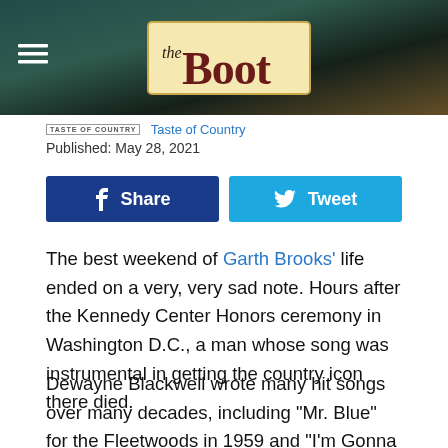[Figure (logo): The Boot website header banner with logo on textured teal/brown leather background, and hamburger menu icon]
Taste of Country
Published: May 28, 2021
[Figure (infographic): Facebook Share button (dark blue) and Twitter Tweet button (light blue)]
The best weekend of Garth Brooks' life ended on a very, very sad note. Hours after the Kennedy Center Honors ceremony in Washington D.C., a man whose song was instrumental in getting the country icon there died.
Dewayne Blackwell wrote many hit songs over many decades, including "Mr. Blue" for the Fleetwoods in 1959 and "I'm Gonna Hire a Wino to Decorate Our Home" by David Frizzell in 1982. He also co-wrote with Earl Bud Lee...